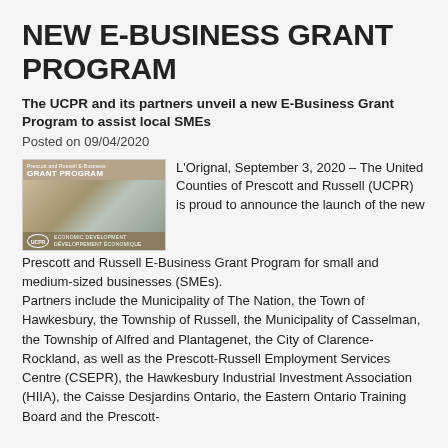NEW E-BUSINESS GRANT PROGRAM
The UCPR and its partners unveil a new E-Business Grant Program to assist local SMEs
Posted on 09/04/2020
[Figure (photo): Promotional image for the Prescott and Russell E-Business Grant Program, showing a banner with 'GRANT PROGRAM' text and photography of people working, with a logo at the bottom.]
L'Orignal, September 3, 2020 – The United Counties of Prescott and Russell (UCPR) is proud to announce the launch of the new Prescott and Russell E-Business Grant Program for small and medium-sized businesses (SMEs).
Partners include the Municipality of The Nation, the Town of Hawkesbury, the Township of Russell, the Municipality of Casselman, the Township of Alfred and Plantagenet, the City of Clarence-Rockland, as well as the Prescott-Russell Employment Services Centre (CSEPR), the Hawkesbury Industrial Investment Association (HIIA), the Caisse Desjardins Ontario, the Eastern Ontario Training Board and the Prescott-